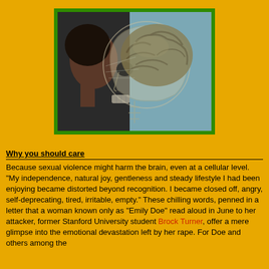[Figure (photo): A composite image showing a woman's profile on the left side and a transparent skull/brain overlay on the right, revealing a detailed brain, set against a light blue background. Framed by a green border.]
Why you should care
Because sexual violence might harm the brain, even at a cellular level. “My independence, natural joy, gentleness and steady lifestyle I had been enjoying became distorted beyond recognition. I became closed off, angry, self-deprecating, tired, irritable, empty.” These chilling words, penned in a letter that a woman known only as “Emily Doe” read aloud in June to her attacker, former Stanford University student Brock Turner, offer a mere glimpse into the emotional devastation left by her rape. For Doe and others among the